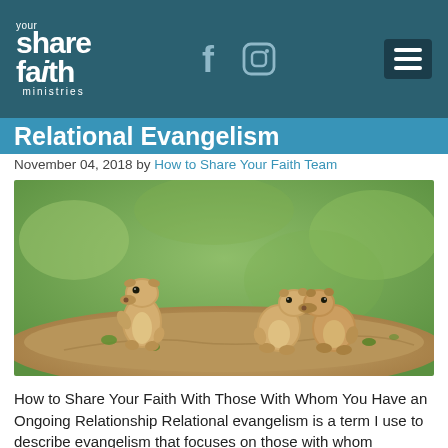share your faith ministries
Relational Evangelism
November 04, 2018 by How to Share Your Faith Team
[Figure (photo): Three prairie dogs on a dirt mound with green grass background. One stands upright on the left facing the other two who are nose-to-nose on the right.]
How to Share Your Faith With Those With Whom You Have an Ongoing Relationship Relational evangelism is a term I use to describe evangelism that focuses on those with whom